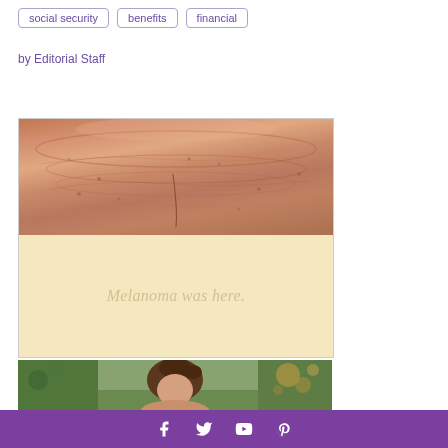social security
benefits
financial
by Editorial Staff
[Figure (photo): Close-up photo of skin showing a surgical scar from melanoma removal on the upper back/neck area, with the lower half showing a cream/beige background with the watermark text 'Melanoma was here.' in light tan color]
[Figure (photo): Photo of a woman with dark hair in an updo, outdoors with trees in background, bokeh lighting]
f  t  YouTube  Pinterest social media icons on purple bar